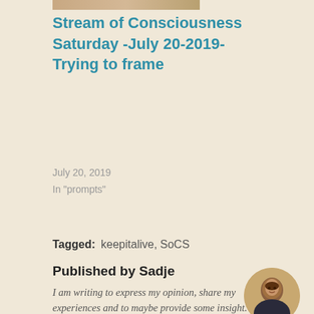[Figure (photo): Partial thumbnail image strip at top of article card]
Stream of Consciousness Saturday -July 20-2019- Trying to frame
July 20, 2019
In "prompts"
Tagged:   keepitalive,  SoCS
Published by Sadje
I am writing to express my opinion, share my experiences and to maybe provide some insight. My blog is addressing women at 50 ( but men